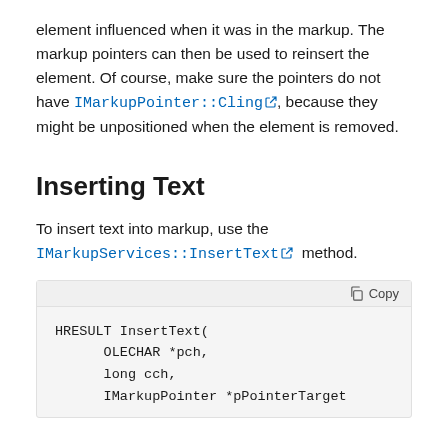element influenced when it was in the markup. The markup pointers can then be used to reinsert the element. Of course, make sure the pointers do not have IMarkupPointer::Cling, because they might be unpositioned when the element is removed.
Inserting Text
To insert text into markup, use the IMarkupServices::InsertText method.
HRESULT InsertText(
      OLECHAR *pch,
      long cch,
      IMarkupPointer *pPointerTarget